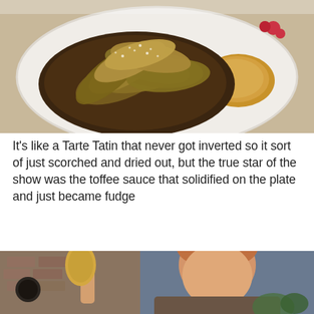[Figure (photo): A plated dessert resembling a Tarte Tatin with caramelized apple slices on top, dusted with powdered sugar, served on a white plate with a toffee/caramel sauce on the side and red berries.]
It's like a Tarte Tatin that never got inverted so it sort of just scorched and dried out, but the true star of the show was the toffee sauce that solidified on the plate and just became fudge
[Figure (photo): A BBC television screenshot showing a red-haired man holding up what appears to be a golden biscuit or cookie shaped like a figure, in a kitchen studio setting with brick wall background.]